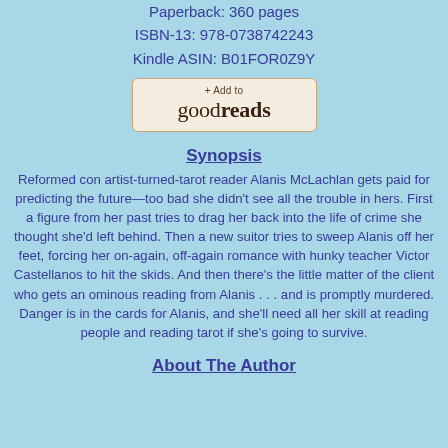Paperback: 360 pages
ISBN-13: 978-0738742243
Kindle ASIN: B01FOR0Z9Y
[Figure (logo): + Add to goodreads button]
Synopsis
Reformed con artist-turned-tarot reader Alanis McLachlan gets paid for predicting the future—too bad she didn't see all the trouble in hers. First a figure from her past tries to drag her back into the life of crime she thought she'd left behind. Then a new suitor tries to sweep Alanis off her feet, forcing her on-again, off-again romance with hunky teacher Victor Castellanos to hit the skids. And then there's the little matter of the client who gets an ominous reading from Alanis . . . and is promptly murdered. Danger is in the cards for Alanis, and she'll need all her skill at reading people and reading tarot if she's going to survive.
About The Author